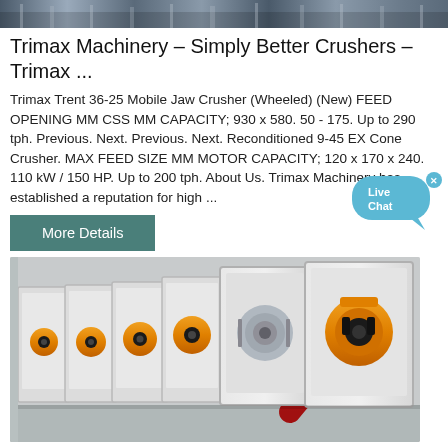[Figure (photo): Top banner photo showing industrial machinery or crushers in a factory setting]
Trimax Machinery – Simply Better Crushers – Trimax ...
Trimax Trent 36-25 Mobile Jaw Crusher (Wheeled) (New) FEED OPENING MM CSS MM CAPACITY; 930 x 580. 50 - 175. Up to 290 tph. Previous. Next. Previous. Next. Reconditioned 9-45 EX Cone Crusher. MAX FEED SIZE MM MOTOR CAPACITY; 120 x 170 x 240. 110 kW / 150 HP. Up to 200 tph. About Us. Trimax Machinery has established a reputation for high ...
[Figure (illustration): Live Chat speech bubble widget with close button]
[Figure (photo): More Details button — teal/green rectangular button]
[Figure (photo): Photo of orange industrial vibration motors mounted in white rectangular metal frame housings, arranged in a row on a grey surface]